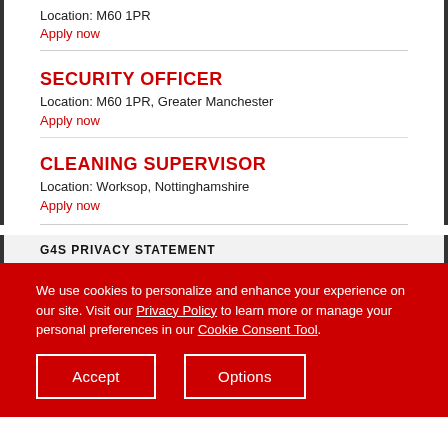Location: M60 1PR
Apply now
SECURITY OFFICER
Location: M60 1PR, Greater Manchester
Apply now
CLEANING SUPERVISOR
Location: Worksop, Nottinghamshire
Apply now
G4S PRIVACY STATEMENT
We use cookies to personalize and enhance your experience on our site. Visit our Privacy Policy to learn more or manage your personal preferences in our Cookie Consent Tool.
Accept
Options